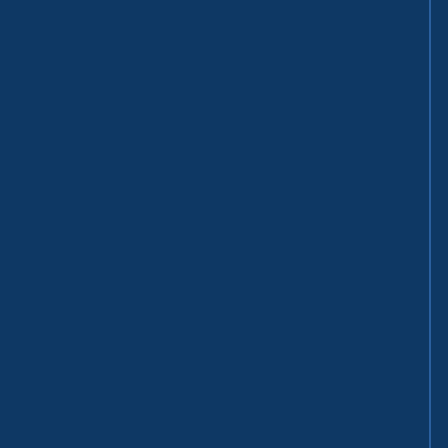ment, since they aimed to criminalise private discrimination